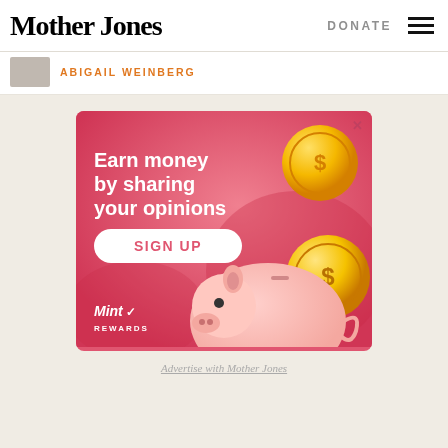Mother Jones | DONATE
ABIGAIL WEINBERG
[Figure (illustration): Advertisement for Mint Rewards: pink background with piggy bank illustration and gold coins. Text reads 'Earn money by sharing your opinions' with a 'SIGN UP' button. Mint Rewards logo at bottom left.]
Advertise with Mother Jones